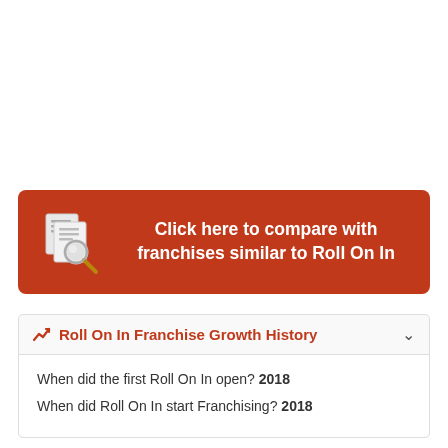[Figure (infographic): Red banner with document/search icon and text: Click here to compare with franchises similar to Roll On In]
Roll On In Franchise Growth History
When did the first Roll On In open? 2018
When did Roll On In start Franchising? 2018
Roll On In Franchise Expansion Plans